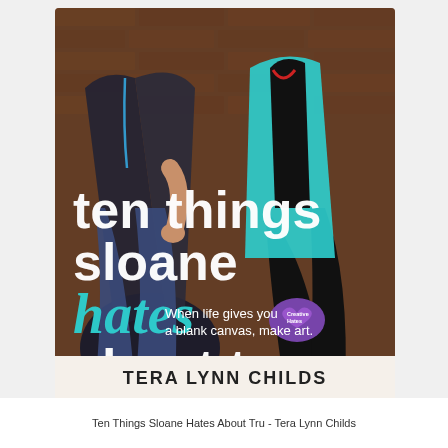[Figure (illustration): Book cover for 'Ten Things Sloane Hates About Tru' by Tera Lynn Childs. Shows two teenagers sitting against a brick wall — one in a black leather jacket (left) and one in a teal jacket (right). Large white title text overlaid on the image with 'hates' in teal cursive. Tagline: 'When life gives you a blank canvas, make art.' Author name at bottom in white serif text. Purple heart logo with 'Creative Hates' badge visible.]
Ten Things Sloane Hates About Tru - Tera Lynn Childs